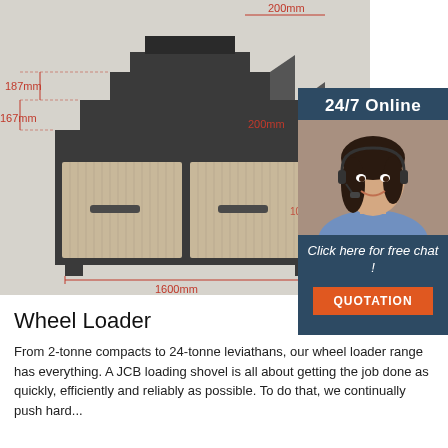[Figure (engineering-diagram): 3D engineering diagram of a tiered display unit/cabinet with dimensions labeled in red: 200mm (top width), 187mm, 167mm (step heights), 200mm, 500mm (side), 1600mm (base width), and a partial dimension on the right side. The cabinet has two drawer-style lower doors and a stepped top shelf structure.]
[Figure (illustration): 24/7 Online customer service widget with a smiling woman wearing a headset, text 'Click here for free chat!', and an orange QUOTATION button on a dark blue background.]
Wheel Loader
From 2-tonne compacts to 24-tonne leviathans, our wheel loader range has everything. A JCB loading shovel is all about getting the job done as quickly, efficiently and reliably as possible. Technology, operator comfort, load...